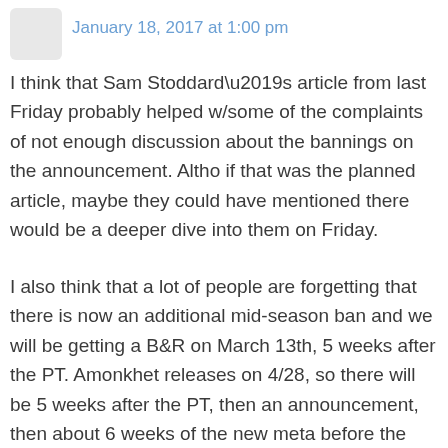January 18, 2017 at 1:00 pm
I think that Sam Stoddard’s article from last Friday probably helped w/some of the complaints of not enough discussion about the bannings on the announcement. Altho if that was the planned article, maybe they could have mentioned there would be a deeper dive into them on Friday.
I also think that a lot of people are forgetting that there is now an additional mid-season ban and we will be getting a B&R on March 13th, 5 weeks after the PT. Amonkhet releases on 4/28, so there will be 5 weeks after the PT, then an announcement, then about 6 weeks of the new meta before the new set arrives. SCG Regionals and an Open in Indy are the more relevant Modern events for me